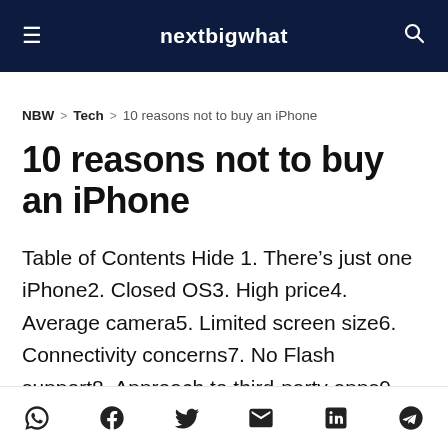nextbigwhat
NBW > Tech > 10 reasons not to buy an iPhone
10 reasons not to buy an iPhone
Table of Contents Hide 1. There’s just one iPhone2. Closed OS3. High price4. Average camera5. Limited screen size6. Connectivity concerns7. No Flash support8. Approach to third-party apps9. Fixed battery10. No...